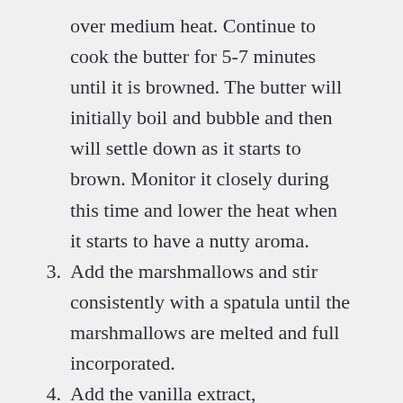over medium heat. Continue to cook the butter for 5-7 minutes until it is browned. The butter will initially boil and bubble and then will settle down as it starts to brown. Monitor it closely during this time and lower the heat when it starts to have a nutty aroma.
3. Add the marshmallows and stir consistently with a spatula until the marshmallows are melted and full incorporated.
4. Add the vanilla extract,